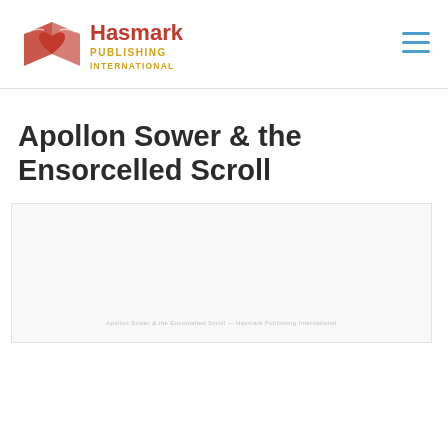[Figure (logo): Hasmark Publishing International logo — book and heart icon in red/orange on the left, text 'Hasmark PUBLISHING INTERNATIONAL' in red and gold to the right]
[Figure (infographic): Hamburger menu icon — three horizontal blue lines stacked]
Apollon Sower & the Ensorcelled Scroll
[Figure (photo): Book cover image placeholder — light gray rectangle with faint watermark text at the bottom]